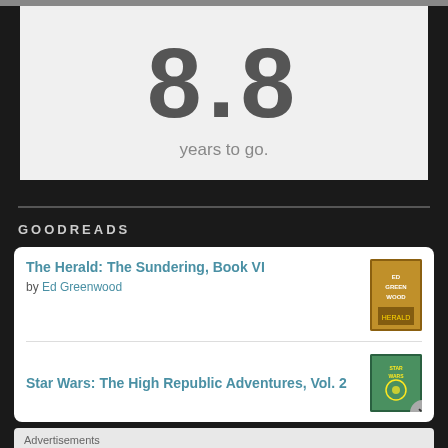8.8
years to go.
GOODREADS
The Herald: The Sundering, Book VI
by Ed Greenwood
Star Wars: The High Republic Adventures, Vol. 2
Advertisements
[Figure (screenshot): Jetpack advertisement banner: green background with Jetpack logo and 'Back up your site' button]